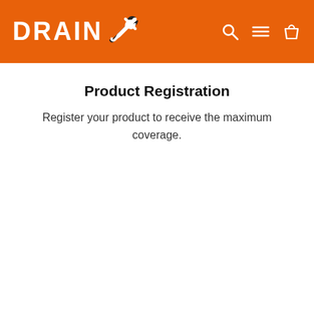DRAIN X — Product Registration page header with logo and navigation icons
Product Registration
Register your product to receive the maximum coverage.